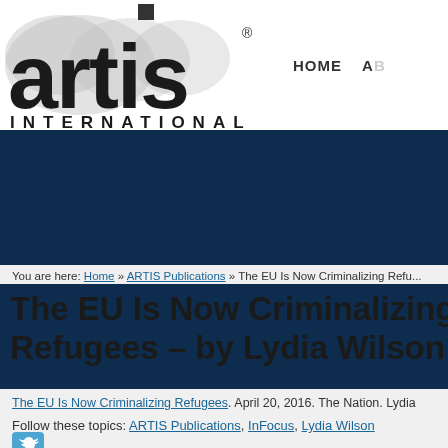ARTIS International - HOME AB...
[Figure (logo): ARTIS International logo with world map background, large 'artis' text and 'INTERNATIONAL' below, gold vertical bar to the right]
You are here: Home » ARTIS Publications » The EU Is Now Criminalizing Refu...
The EU Is Now Criminalizing Refugees – by Lydia Wilson
The EU Is Now Criminalizing Refugees. April 20, 2016. The Nation. Lydia...
Follow these topics: ARTIS Publications, InFocus, Lydia Wilson
[Figure (logo): Twitter bird icon button]